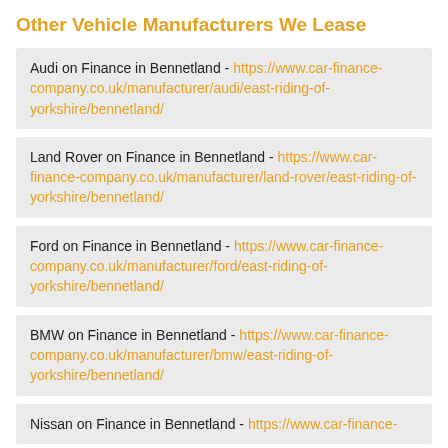Other Vehicle Manufacturers We Lease
Audi on Finance in Bennetland - https://www.car-finance-company.co.uk/manufacturer/audi/east-riding-of-yorkshire/bennetland/
Land Rover on Finance in Bennetland - https://www.car-finance-company.co.uk/manufacturer/land-rover/east-riding-of-yorkshire/bennetland/
Ford on Finance in Bennetland - https://www.car-finance-company.co.uk/manufacturer/ford/east-riding-of-yorkshire/bennetland/
BMW on Finance in Bennetland - https://www.car-finance-company.co.uk/manufacturer/bmw/east-riding-of-yorkshire/bennetland/
Nissan on Finance in Bennetland - https://www.car-finance-company.co.uk/manufacturer/nissan/east-riding-of-yorkshire/bennetland/